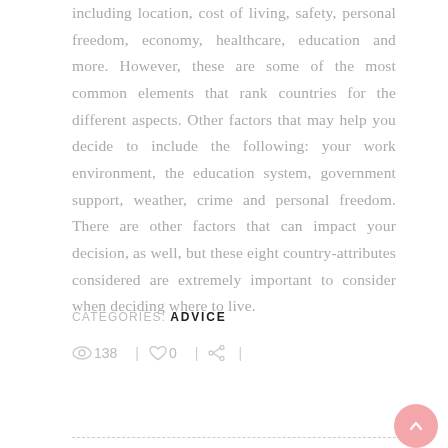including location, cost of living, safety, personal freedom, economy, healthcare, education and more. However, these are some of the most common elements that rank countries for the different aspects. Other factors that may help you decide to include the following: your work environment, the education system, government support, weather, crime and personal freedom. There are other factors that can impact your decision, as well, but these eight country-attributes considered are extremely important to consider when deciding where to live.
CATEGORIES: ADVICE
138 | 0 | |